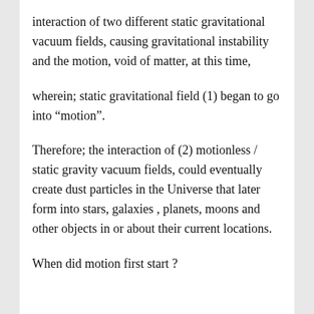interaction of two different static gravitational vacuum fields, causing gravitational instability and the motion, void of matter, at this time,
wherein; static gravitational field (1) began to go into “motion”.
Therefore; the interaction of (2) motionless / static gravity vacuum fields, could eventually create dust particles in the Universe that later form into stars, galaxies , planets, moons and other objects in or about their current locations.
When did motion first start ?